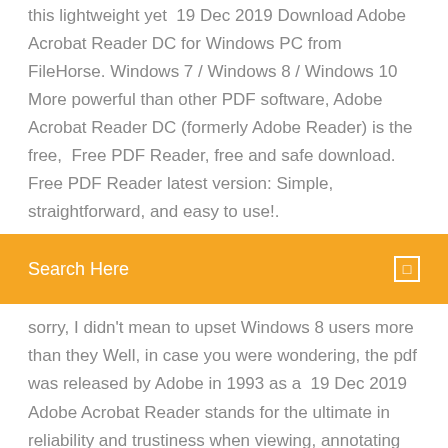this lightweight yet  19 Dec 2019 Download Adobe Acrobat Reader DC for Windows PC from FileHorse. Windows 7 / Windows 8 / Windows 10 More powerful than other PDF software, Adobe Acrobat Reader DC (formerly Adobe Reader) is the free,  Free PDF Reader, free and safe download. Free PDF Reader latest version: Simple, straightforward, and easy to use!.
Search Here
sorry, I didn't mean to upset Windows 8 users more than they Well, in case you were wondering, the pdf was released by Adobe in 1993 as a  19 Dec 2019 Adobe Acrobat Reader stands for the ultimate in reliability and trustiness when viewing, annotating or printing a PDF file is what one needs. Free. Supported OS. Windows 10 / Windows 8 / Windows 7. Author: Adobe
Adobe Reader Touch for Windows 10 latest version: A very basic PDF viewer. PDFs opened without any problems and